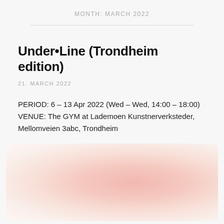MONTH: MARCH 2022
Under•Line (Trondheim edition)
21. MARCH 2022
PERIOD: 6 – 13 Apr 2022 (Wed – Wed, 14:00 – 18:00)
VENUE: The GYM at Lademoen Kunstnerverksteder, Mellomveien 3abc, Trondheim
[Figure (illustration): Abstract soft gradient image with pastel pink and peach tones, blurred radial gradient suggesting a soft light or atmospheric background]